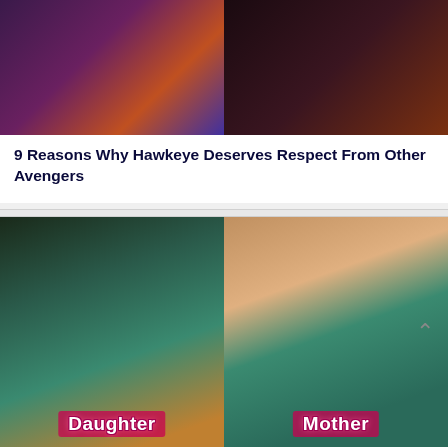[Figure (photo): Two side-by-side movie stills from what appears to be superhero/action films, left image showing two characters with glowing light between them on purple-toned background, right image showing a dark shadowy figure]
9 Reasons Why Hawkeye Deserves Respect From Other Avengers
[Figure (photo): Two side-by-side photos of women wearing matching teal/green feathered embroidered dresses. Left photo labeled 'Daughter' shows a smiling blonde woman on a TV show set. Right photo labeled 'Mother' shows a smiling woman in a home/office setting. A chevron up arrow appears on the right side.]
9 Celebrities Who Shared Clothes And Style With Their Family